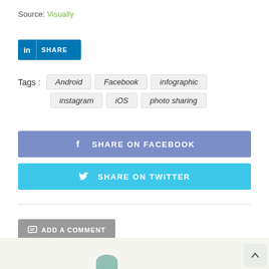Source: Visually
[Figure (other): LinkedIn Share button]
Tags : Android  Facebook  infographic  instagram  iOS  photo sharing
[Figure (other): Share on Facebook button]
[Figure (other): Share on Twitter button]
[Figure (other): Add a Comment button]
[Figure (other): Back to top button and footer bar with partial avatar]